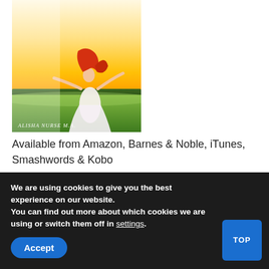[Figure (photo): Book cover showing a woman in a white dress with red hair, arms spread wide in a sunny green field. Author name 'ALISHA NURSE M.A.' shown at bottom of cover.]
Available from Amazon, Barnes & Noble, iTunes, Smashwords & Kobo
We are using cookies to give you the best experience on our website.
You can find out more about which cookies we are using or switch them off in settings.
Accept
TOP